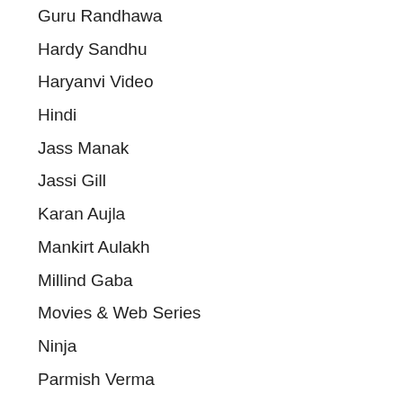Guru Randhawa
Hardy Sandhu
Haryanvi Video
Hindi
Jass Manak
Jassi Gill
Karan Aujla
Mankirt Aulakh
Millind Gaba
Movies & Web Series
Ninja
Parmish Verma
Punjabi Video
Raftaar
Raju Punjabi